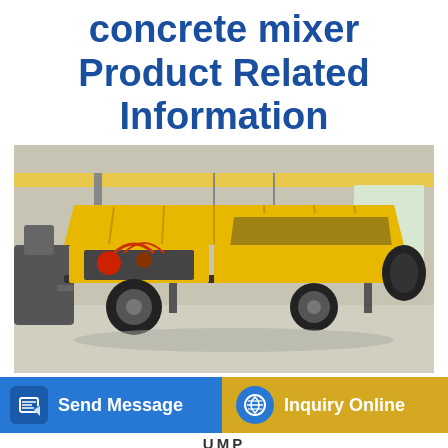concrete mixer Product Related Information
[Figure (photo): Yellow concrete mixer pump truck with open hood revealing engine, large black hopper on right, wheeled trailer frame, photographed in a factory/warehouse setting with gray concrete floor and industrial crane visible in background.]
Send Message
Inquiry Online
UMP